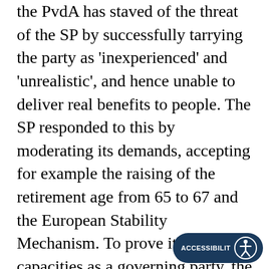the PvdA has staved of the threat of the SP by successfully tarrying the party as 'inexperienced' and 'unrealistic', and hence unable to deliver real benefits to people. The SP responded to this by moderating its demands, accepting for example the raising of the retirement age from 65 to 67 and the European Stability Mechanism. To prove its capacities as a governing party, the SP joined several executives, such as in the capital Amsterdam where it has formed a coalition with right-wing parties. But this approach has also meant the party is seen less as the party of the opposition, and as too tame for many.